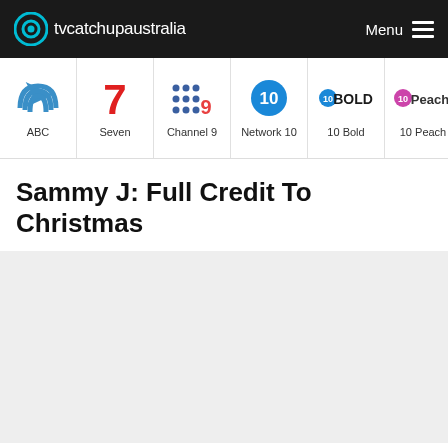tvcatchupaustralia — Menu
[Figure (logo): TV Catchup Australia website with channel logos: ABC, Seven, Channel 9, Network 10, 10 Bold, 10 Peach, 10 Sha(ke)]
Sammy J: Full Credit To Christmas
[Figure (other): Grey placeholder content area]
Home   Sammy J: Full Credit To Christmas